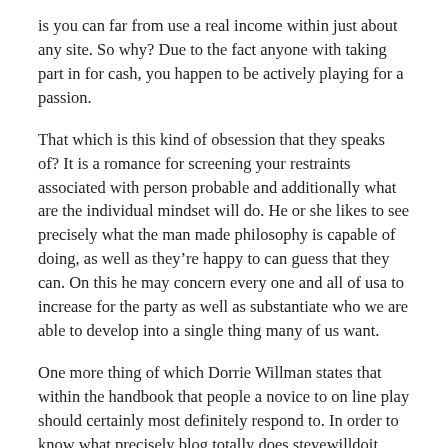is you can far from use a real income within just about any site. So why? Due to the fact anyone with taking part in for cash, you happen to be actively playing for a passion.
That which is this kind of obsession that they speaks of? It is a romance for screening your restraints associated with person probable and additionally what are the individual mindset will do. He or she likes to see precisely what the man made philosophy is capable of doing, as well as they’re happy to can guess that they can. On this he may concern every one and all of usa to increase for the party as well as substantiate who we are able to develop into a single thing many of us want.
One more thing of which Dorrie Willman states that within the handbook that people a novice to on line play should certainly most definitely respond to. In order to know what precisely blog totally does stevewilldoit chance it about, listen to Charlie Willman. Anyone aren’t going to be